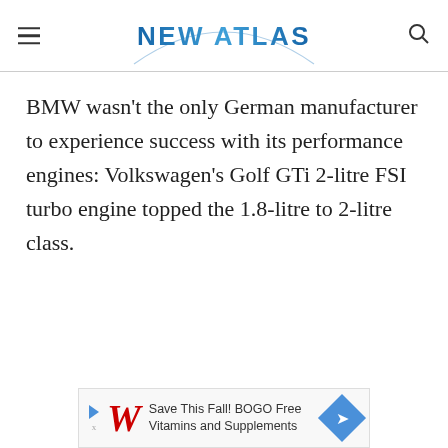NEW ATLAS
BMW wasn't the only German manufacturer to experience success with its performance engines: Volkswagen's Golf GTi 2-litre FSI turbo engine topped the 1.8-litre to 2-litre class.
[Figure (infographic): Walgreens advertisement banner: Save This Fall! BOGO Free Vitamins and Supplements]